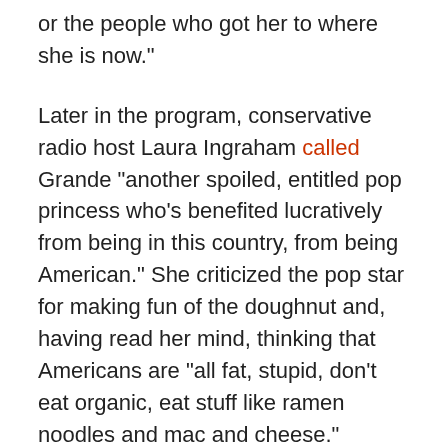or the people who got her to where she is now."
Later in the program, conservative radio host Laura Ingraham called Grande "another spoiled, entitled pop princess who's benefited lucratively from being in this country, from being American." She criticized the pop star for making fun of the doughnut and, having read her mind, thinking that Americans are "all fat, stupid, don't eat organic, eat stuff like ramen noodles and mac and cheese."
"Headline for Ariana Grande," Ingraham continued, "maybe you should re-read the lyrics to 'Problem,' maybe that should be your new theme. The last time I checked, the poor people who like to buy doughnuts also bought a lot of your stupid music!"